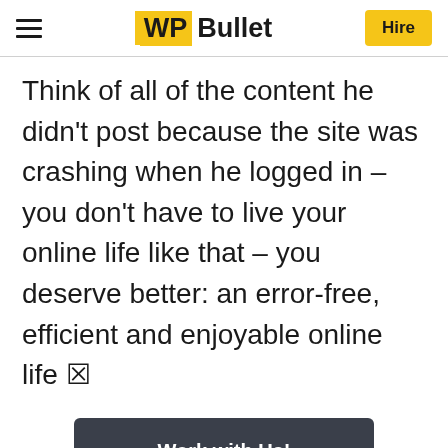WP Bullet — Hire
Think of all of the content he didn't post because the site was crashing when he logged in – you don't have to live your online life like that – you deserve better: an error-free,  efficient and enjoyable online life 🙂
Work with Us!